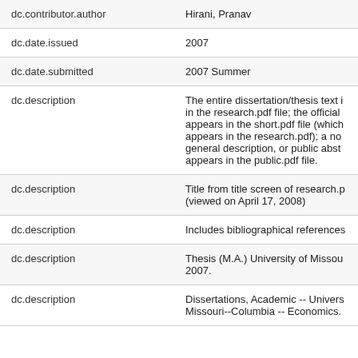| Field | Value |
| --- | --- |
| dc.contributor.author | Hirani, Pranav |
| dc.date.issued | 2007 |
| dc.date.submitted | 2007 Summer |
| dc.description | The entire dissertation/thesis text i in the research.pdf file; the official appears in the short.pdf file (which appears in the research.pdf); a no general description, or public abst appears in the public.pdf file. |
| dc.description | Title from title screen of research.p (viewed on April 17, 2008) |
| dc.description | Includes bibliographical references |
| dc.description | Thesis (M.A.) University of Missou 2007. |
| dc.description | Dissertations, Academic -- Univers Missouri--Columbia -- Economics. |